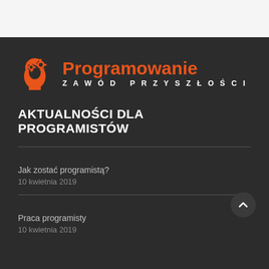[Figure (logo): Programowanie Zawód Przyszłości logo — orange head silhouette with gear icons, orange bold text 'Programowanie', white spaced uppercase text 'ZAWÓD PRZYSZŁOŚCI']
AKTUALNOŚCI DLA PROGRAMISTÓW
Jak zostać programistą?
10 kwietnia 2019
Praca programisty
10 kwietnia 2019